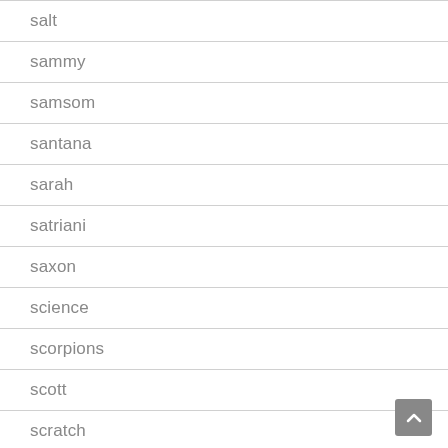salt
sammy
samsom
santana
sarah
satriani
saxon
science
scorpions
scott
scratch